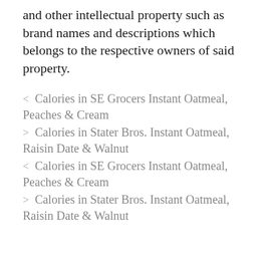and other intellectual property such as brand names and descriptions which belongs to the respective owners of said property.
< Calories in SE Grocers Instant Oatmeal, Peaches & Cream
> Calories in Stater Bros. Instant Oatmeal, Raisin Date & Walnut
< Calories in SE Grocers Instant Oatmeal, Peaches & Cream
> Calories in Stater Bros. Instant Oatmeal, Raisin Date & Walnut